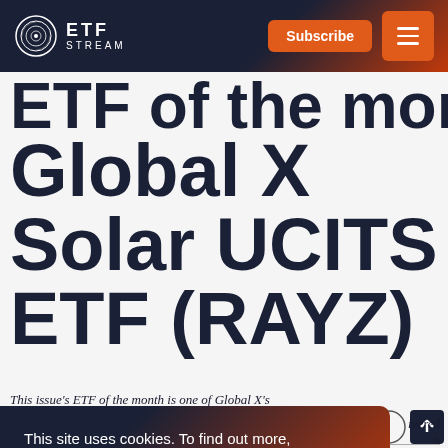ETF Stream — Subscribe
ETF of the month: Global X Solar UCITS ETF (RAYZ)
This issue's ETF of the month is one of Global X's ... delivered ... n
This site uses cookies. To find out more, please Read our cookie policy
OK, I Agree
12 Apr 2022